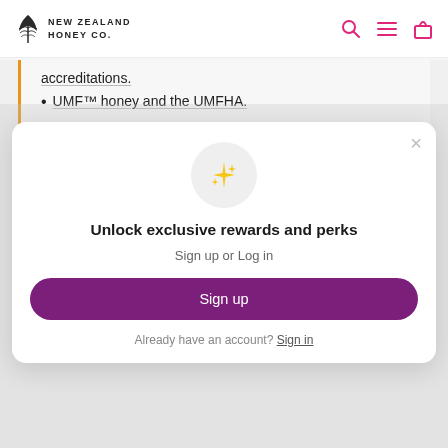NEW ZEALAND HONEY CO.
accreditations.
UMF™ honey and the UMFHA.
[Figure (illustration): Sparkle/star emoji icon inside a light grey circle]
Unlock exclusive rewards and perks
Sign up or Log in
Sign up
Already have an account? Sign in